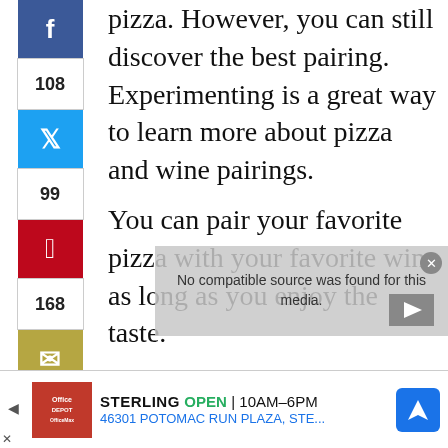pizza. However, you can still discover the best pairing. Experimenting is a great way to learn more about pizza and wine pairings.
You can pair your favorite pizza with your favorite wine as long as you enjoy the taste.
65Also, I tried to make my pizza using this S-KITCHN Crepe Pan. It was great! Take a look at my product review here.